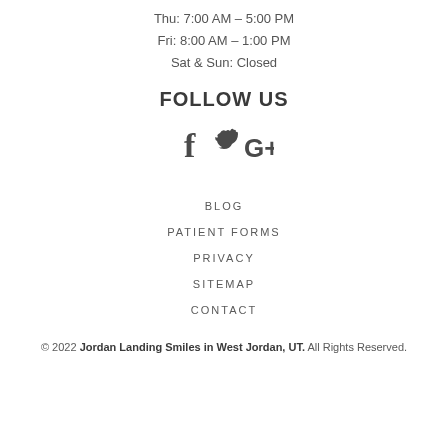Thu: 7:00 AM – 5:00 PM
Fri: 8:00 AM – 1:00 PM
Sat & Sun: Closed
FOLLOW US
[Figure (other): Social media icons: Facebook (f), Twitter (bird), Google+ (G+)]
BLOG
PATIENT FORMS
PRIVACY
SITEMAP
CONTACT
© 2022 Jordan Landing Smiles in West Jordan, UT. All Rights Reserved.